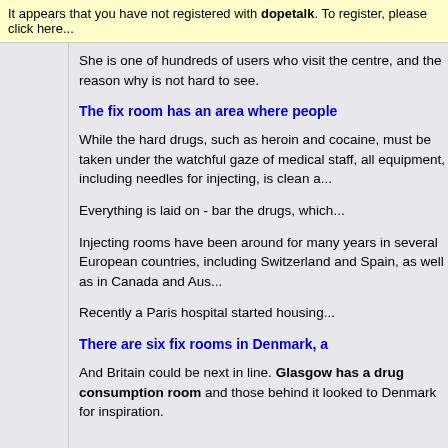It appears that you have not registered with dopetalk. To register, please click here...
She is one of hundreds of users who visit the centre, and the reason why is not hard to see.
The fix room has an area where people
While the hard drugs, such as heroin and cocaine, must be taken under the watchful gaze of medical staff, all equipment, including needles for injecting, is clean and
Everything is laid on - bar the drugs, which
Injecting rooms have been around for many years in several European countries, including Switzerland and Spain, as well as in Canada and Australia.
Recently a Paris hospital started housing
There are six fix rooms in Denmark, a
And Britain could be next in line. Glasgow has a drug consumption room and those behind it looked to Denmark for inspiration.